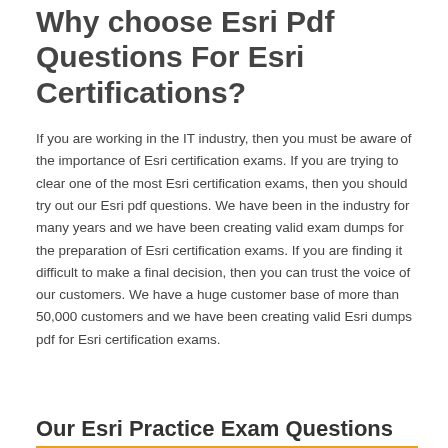Why choose Esri Pdf Questions For Esri Certifications?
If you are working in the IT industry, then you must be aware of the importance of Esri certification exams. If you are trying to clear one of the most Esri certification exams, then you should try out our Esri pdf questions. We have been in the industry for many years and we have been creating valid exam dumps for the preparation of Esri certification exams. If you are finding it difficult to make a final decision, then you can trust the voice of our customers. We have a huge customer base of more than 50,000 customers and we have been creating valid Esri dumps pdf for Esri certification exams.
Our Esri Practice Exam Questions